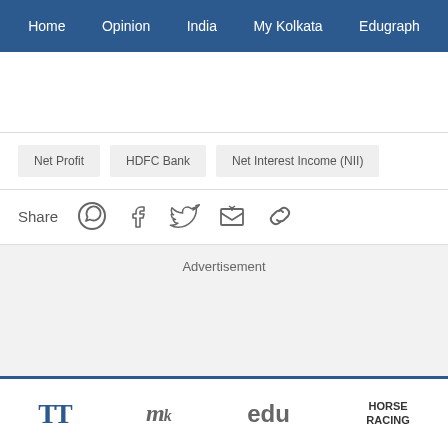Home   Opinion   India   My Kolkata   Edugraph
Net Profit
HDFC Bank
Net Interest Income (NII)
Share
Advertisement
TT   My Kolkata   edu   HORSE RACING